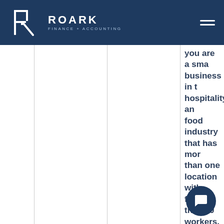ROARK FINANCE + ACCOUNTING
you are a small business in the hospitality and food industry that has more than one location with fewer than 50 workers.
Self-employed individuals
Independent